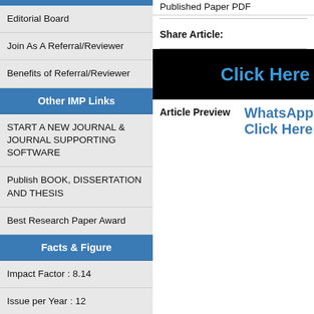Published Paper PDF
Share Article:
Other IMP Links
START A NEW JOURNAL & JOURNAL SUPPORTING SOFTWARE
Publish BOOK, DISSERTATION AND THESIS
Best Research Paper Award
Facts & Figure
Impact Factor : 8.14
Issue per Year : 12
Volume Published : 7
Editorial Board
Join As A Referral/Reviewer
Benefits of Referral/Reviewer
[Figure (other): Black banner with 'Click Here' text in blue]
Article Preview
WhatsApp Click Here